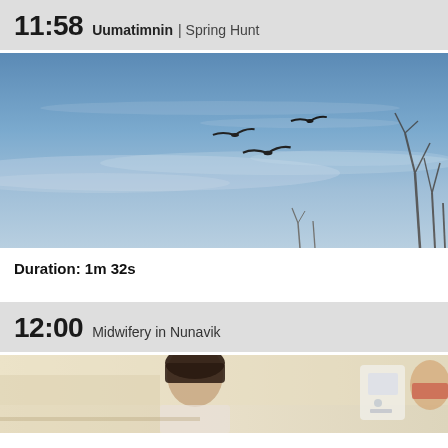11:58 Uumatimnin | Spring Hunt
[Figure (photo): Blue sky with three birds in flight and bare branches silhouetted at the right edge and lower center]
Duration: 1m 32s
12:00 Midwifery in Nunavik
[Figure (photo): Partial view of a medical/midwifery setting with a person visible and medical equipment in the background]